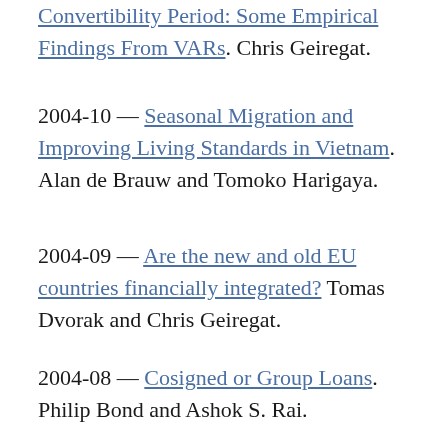Convertibility Period: Some Empirical Findings From VARs. Chris Geiregat.
2004-10 — Seasonal Migration and Improving Living Standards in Vietnam. Alan de Brauw and Tomoko Harigaya.
2004-09 — Are the new and old EU countries financially integrated? Tomas Dvorak and Chris Geiregat.
2004-08 — Cosigned or Group Loans. Philip Bond and Ashok S. Rai.
2004-07 — Private Provision of Environmental Public Goods: Household